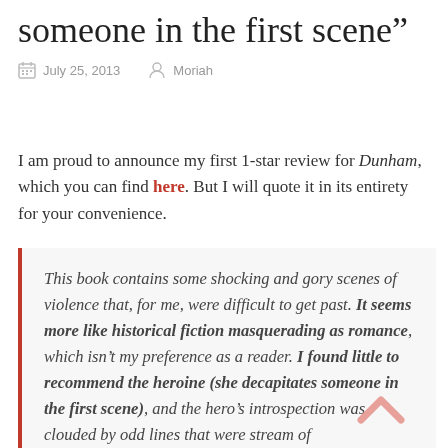someone in the first scene”
July 25, 2013   Moriah
I am proud to announce my first 1-star review for Dunham, which you can find here. But I will quote it in its entirety for your convenience.
This book contains some shocking and gory scenes of violence that, for me, were difficult to get past. It seems more like historical fiction masquerading as romance, which isn’t my preference as a reader. I found little to recommend the heroine (she decapitates someone in the first scene), and the hero’s introspection was clouded by odd lines that were stream of consciousness? Bad poetry? I’m not sure what it was, other than that I didn’t like it. I’m surprised that kind of thing got past an editor.